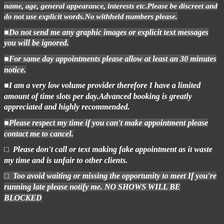name, age, general appearance, interests etc.Please be discreet and do not use explicit words.No withheld numbers please.
Do not send me any graphic images or explicit text messages you will be ignored.
For same day appointments please allow at least an 30 minutes notice.
I am a very low volume provider therefore I have a limited amount of time slots per day.Advanced booking is greatly appreciated and highly recommended.
Please respect my time if you can't make appointment please contact me to cancel.
Please don't call or text making fake appointment as it waste my time and is unfair to other clients.
Too avoid waiting or missing the opportunity to meet If you're running late please notify me. NO SHOWS WILL BE BLOCKED